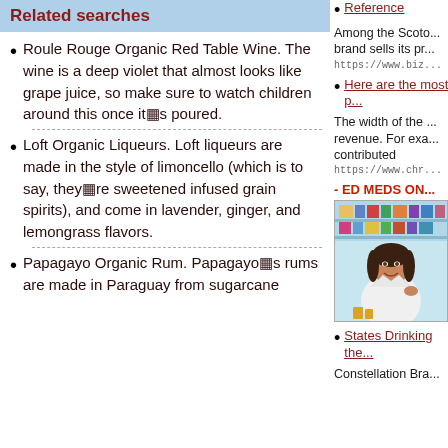Related searches
Roule Rouge Organic Red Table Wine. The wine is a deep violet that almost looks like grape juice, so make sure to watch children around this once it�s poured.
Loft Organic Liqueurs. Loft liqueurs are made in the style of limoncello (which is to say, they�re sweetened infused grain spirits), and come in lavender, ginger, and lemongrass flavors.
Papagayo Organic Rum. Papagayo�s rums are made in Paraguay from sugarcane
Reference
Among the Scoto... brand sells its pr...
https://www.biz...
Here are the most p...
The width of the ... revenue. For exa... contributed
https://www.chr...
- ED MEDS ON...
[Figure (photo): A smiling woman in a white lab coat, presumably a pharmacist, standing in front of pharmacy shelves with medications.]
States Drinking the...
Constellation Bra...